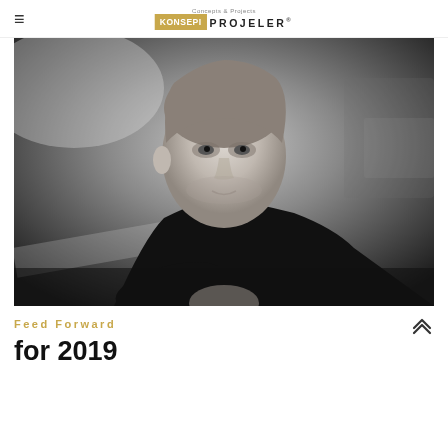≡  KONSEPI PROJELER
[Figure (photo): Black and white portrait photo of a young man in a black sweater, seated and leaning forward with hands clasped, looking slightly upward. Background is blurred interior setting.]
Feed Forward
for 2019